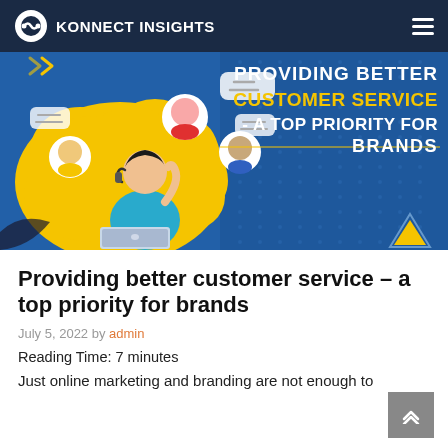KONNECT INSIGHTS
[Figure (illustration): Banner illustration showing a customer service representative with headset working on laptop, surrounded by diverse user avatars in circles with speech bubbles on a blue and yellow background. Text on banner reads: PROVIDING BETTER CUSTOMER SERVICE - A TOP PRIORITY FOR BRANDS]
Providing better customer service – a top priority for brands
July 5, 2022 by admin
Reading Time: 7 minutes
Just online marketing and branding are not enough to